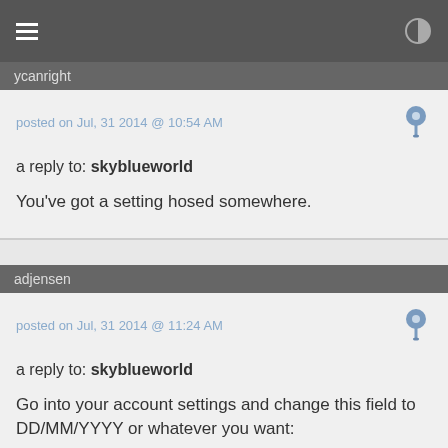ycanright
posted on Jul, 31 2014 @ 10:54 AM
a reply to: skyblueworld
You've got a setting hosed somewhere.
adjensen
posted on Jul, 31 2014 @ 11:24 AM
a reply to: skyblueworld
Go into your account settings and change this field to DD/MM/YYYY or whatever you want: